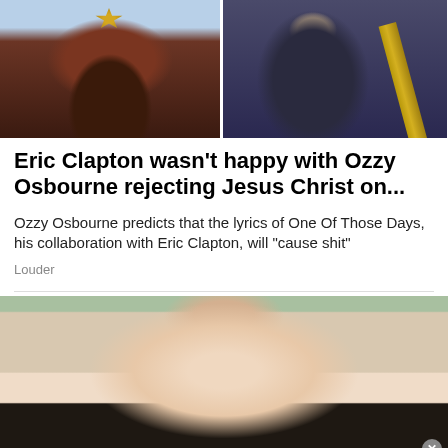[Figure (photo): Two photos side by side: left shows a person in dark clothing with a gold emblem/jewelry against a light blue background; right shows a person in dark suit holding a gold guitar with a chain necklace]
Eric Clapton wasn't happy with Ozzy Osbourne rejecting Jesus Christ on...
Ozzy Osbourne predicts that the lyrics of One Of Those Days, his collaboration with Eric Clapton, will "cause shit"
Louder
[Figure (photo): Close-up photo of a pregnant woman's belly, hands cradling the bump, with blurred green background]
[Figure (advertisement): Wayfair advertisement with logo, text 'Top Appliances Low Prices', image of a stove/range appliance, and text 'Save on best selling brands that live up to the hype' with 'Shop now' button]